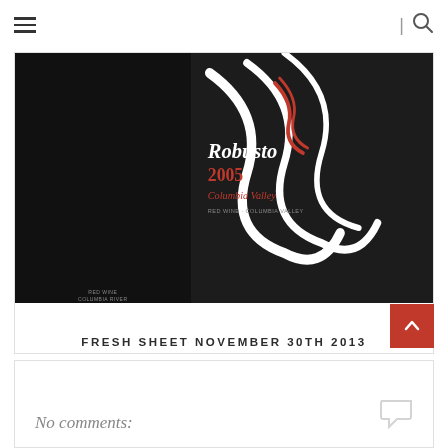Navigation bar with hamburger menu and search icon
[Figure (photo): Two wine bottles shown close up. Left bottle is mostly black/dark with a simple label. Right bottle shows the 'Robusto 2005 Columbia Valley' label with decorative white swirl/ribbon design on a dark background with red ribbon accent.]
FRESH SHEET NOVEMBER 30TH 2013
No comments: